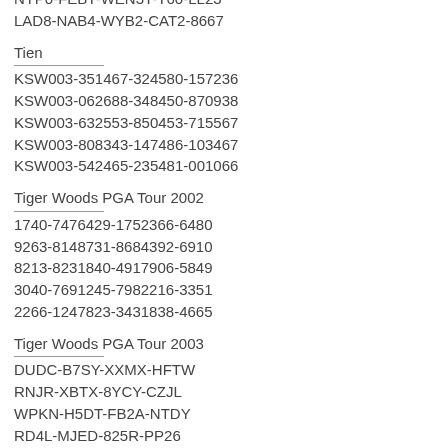NYP0-FEBT-WEN3T-T60-LL23
LAD8-NAB4-WYB2-CAT2-8667
Tien
KSW003-351467-324580-157236
KSW003-062688-348450-870938
KSW003-632553-850453-715567
KSW003-808343-147486-103467
KSW003-542465-235481-001066
Tiger Woods PGA Tour 2002
1740-7476429-1752366-6480
9263-8148731-8684392-6910
8213-8231840-4917906-5849
3040-7691245-7982216-3351
2266-1247823-3431838-4665
Tiger Woods PGA Tour 2003
DUDC-B7SY-XXMX-HFTW
RNJR-XBTX-8YCY-CZJL
WPKN-H5DT-FB2A-NTDY
RD4L-MJED-825R-PP26